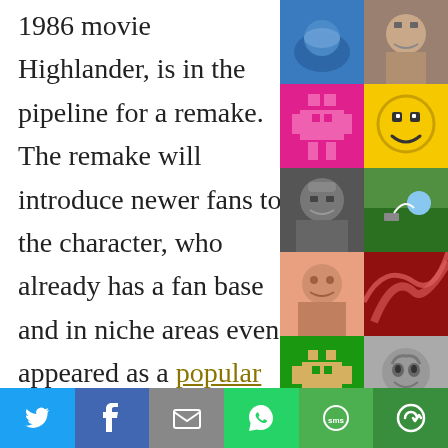1986 movie Highlander, is in the pipeline for a remake. The remake will introduce newer fans to the character, who already has a fan base and in niche areas even appeared as a popular game on the homepage of Betway Casino, featured as an online slot
[Figure (photo): Grid of thumbnail photos on the right side: various people, pixel art robots, a lego head, a cat, silhouettes, and other images]